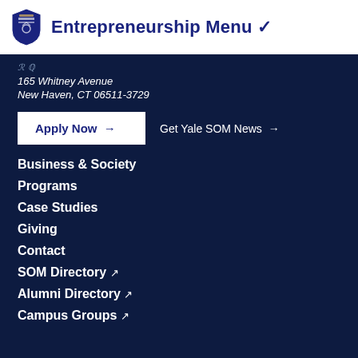Entrepreneurship Menu
165 Whitney Avenue
New Haven, CT 06511-3729
Apply Now →
Get Yale SOM News →
Business & Society
Programs
Case Studies
Giving
Contact
SOM Directory ↗
Alumni Directory ↗
Campus Groups ↗